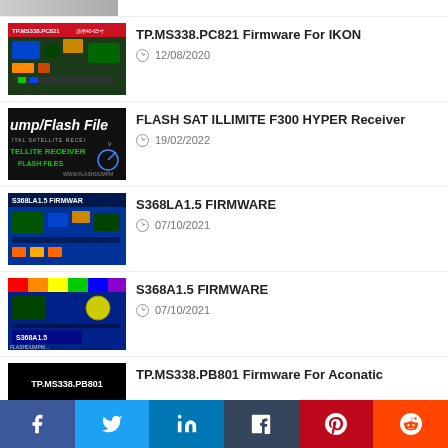TP.MS338.PC821 Firmware For IKON — 12/08/2020
FLASH SAT ILLIMITE F300 HYPER Receiver — 19/02/2022
S368LA1.5 FIRMWARE — 07/10/2021
S368A1.5 FIRMWARE — 07/10/2021
TP.MS338.PB801 Firmware For Aconatic